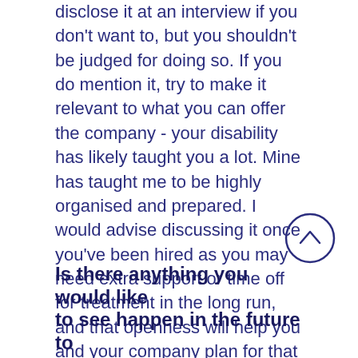disclose it at an interview if you don't want to, but you shouldn't be judged for doing so. If you do mention it, try to make it relevant to what you can offer the company - your disability has likely taught you a lot. Mine has taught me to be highly organised and prepared. I would advise discussing it once you've been hired as you may need extra support or time off for treatment in the long run, and that openness will help you and your company plan for that where possible. Being open can be difficult, but most people will want to support you.
Is there anything you would like to see happen in the future to